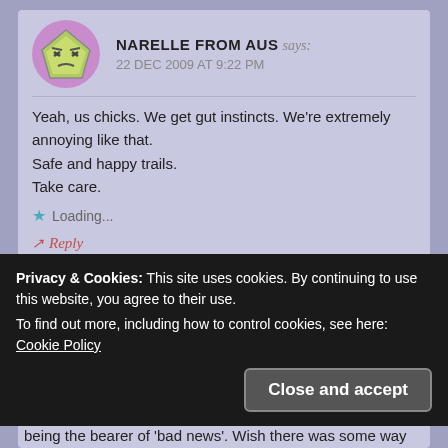NARELLE FROM AUS says: 22 DEC 2009 AT 9:22 PM
Yeah, us chicks. We get gut instincts. We're extremely annoying like that.
Safe and happy trails.
Take care.
Loading...
Reply
DASNDANGER says:
Privacy & Cookies: This site uses cookies. By continuing to use this website, you agree to their use.
To find out more, including how to control cookies, see here: Cookie Policy
Close and accept
being the bearer of 'bad news'. Wish there was some way